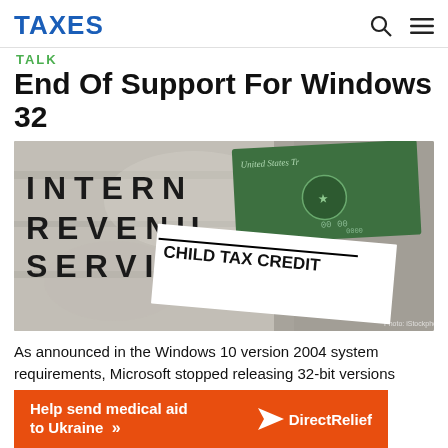TAXES
TALK
End Of Support For Windows 32
[Figure (photo): IRS building sign with letters INTERNAL REVENUE SERVICE, overlaid with a United States Treasury check and a Child Tax Credit document]
As announced in the Windows 10 version 2004 system requirements, Microsoft stopped releasing 32-bit versions
Help send medical aid to Ukraine >> DirectRelief